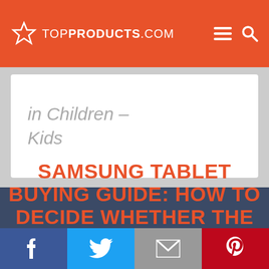TOP PRODUCTS .COM
in Children - Kids
SAMSUNG TABLET BUYING GUIDE: HOW TO DECIDE WHETHER THE LATEST SAMSUNG TABLET IS RIGHT FOR YOU
[Figure (other): Social media share bar with Facebook, Twitter, Email, and Pinterest buttons]